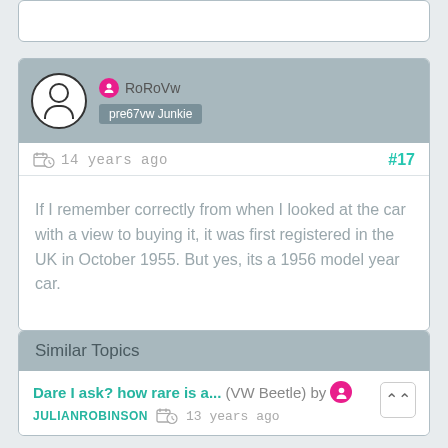[Figure (screenshot): Partial forum post card cropped at top of page]
RoRoVw
pre67vw Junkie
14 years ago
#17
If I remember correctly from when I looked at the car with a view to buying it, it was first registered in the UK in October 1955. But yes, its a 1956 model year car.
Similar Topics
Dare I ask? how rare is a... (VW Beetle) by JULIANROBINSON 13 years ago